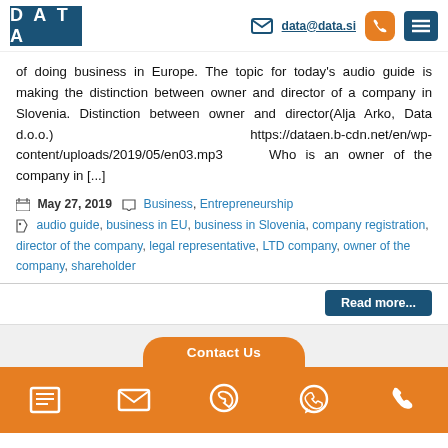DATA | data@data.si
of doing business in Europe. The topic for today's audio guide is making the distinction between owner and director of a company in Slovenia. Distinction between owner and director(Alja Arko, Data d.o.o.) https://dataen.b-cdn.net/en/wp-content/uploads/2019/05/en03.mp3 Who is an owner of the company in [...]
May 27, 2019 | Business, Entrepreneurship
audio guide, business in EU, business in Slovenia, company registration, director of the company, legal representative, LTD company, owner of the company, shareholder
Read more...
Contact Us